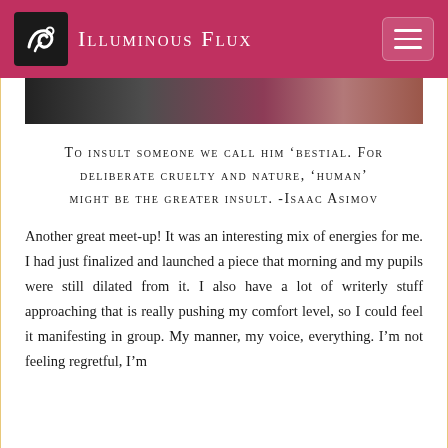Illuminous Flux
[Figure (photo): Partial view of an image strip at the top of the content area, showing a dark-bordered photo with colorful floral or abstract content partially visible.]
To insult someone we call him 'bestial. For deliberate cruelty and nature, 'human' might be the greater insult. -Isaac Asimov
Another great meet-up! It was an interesting mix of energies for me. I had just finalized and launched a piece that morning and my pupils were still dilated from it. I also have a lot of writerly stuff approaching that is really pushing my comfort level, so I could feel it manifesting in group. My manner, my voice, everything. I'm not feeling regretful, I'm